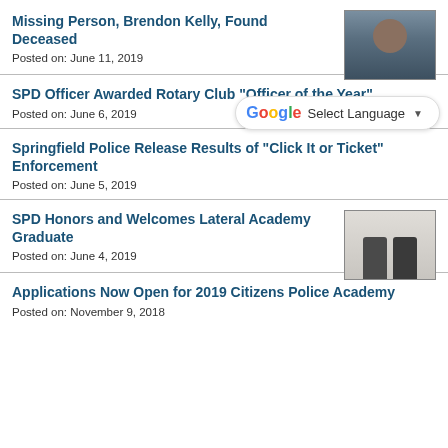Missing Person, Brendon Kelly, Found Deceased
Posted on: June 11, 2019
SPD Officer Awarded Rotary Club "Officer of the Year"
Posted on: June 6, 2019
Springfield Police Release Results of "Click It or Ticket" Enforcement
Posted on: June 5, 2019
SPD Honors and Welcomes Lateral Academy Graduate
Posted on: June 4, 2019
Applications Now Open for 2019 Citizens Police Academy
Posted on: November 9, 2018